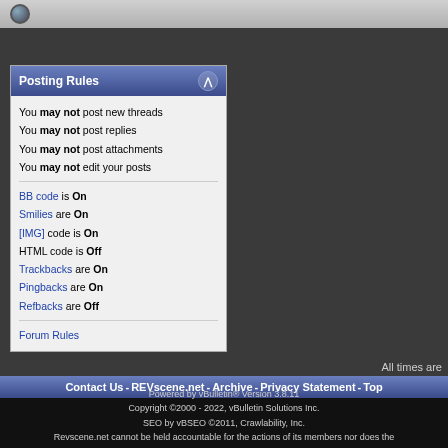[Figure (other): Top navigation bar with radio/loading icon]
Post Reply (button)
Posting Rules
You may not post new threads
You may not post replies
You may not post attachments
You may not edit your posts
BB code is On
Smilies are On
[IMG] code is On
HTML code is Off
Trackbacks are On
Pingbacks are On
Refbacks are Off
Forum Rules
All times are
Contact Us - REVscene.net - Archive - Privacy Statement - Top
Powered by vBulletin® Version 3.8.11
Copyright ©2000 - 2022, vBulletin Solutions Inc.
SEO by vBSEO ©2011, Crawlability, Inc.
Revscene.net cannot be held accountable for the actions of its members nor does the opinions of the members represent that of Revscene.net